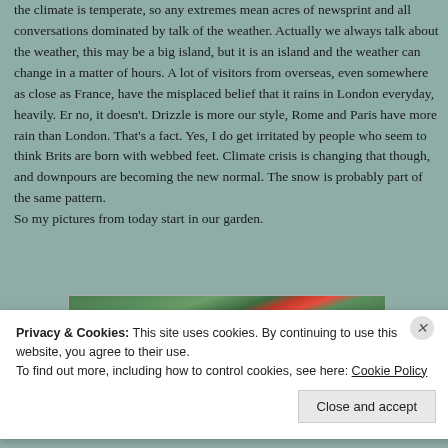the climate is temperate, so any extremes mean acres of newsprint and all conversations dominated by talk of the weather. Actually we always talk about the weather, this may be a big island, but it is an island and the weather can change in a matter of hours. A lot of visitors from overseas, even somewhere as close as France, have the misplaced belief that it rains in London everyday, heavily. Er no, it doesn't. Drizzle is more our style, Rome and Paris have more rain than London. That's a fact. Yes, I do get irritated by people who seem to think Brits are born with webbed feet. Climate crisis is changing that though, and downpours are becoming the new normal. The snow is probably part of the same pattern.
So my pictures from today start in our garden.
[Figure (photo): Photo of plant/garden with green leaves and red stems/flowers visible against a light background]
Privacy & Cookies: This site uses cookies. By continuing to use this website, you agree to their use.
To find out more, including how to control cookies, see here: Cookie Policy
Close and accept